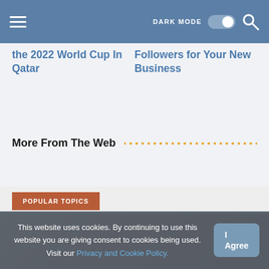DARK MODE [toggle] [search icon]
the 2022 World Cup In Qatar
Followers for Your New Business
More From The Web
POPULAR TOPICS
This website uses cookies. By continuing to use this website you are giving consent to cookies being used. Visit our Privacy and Cookie Policy.